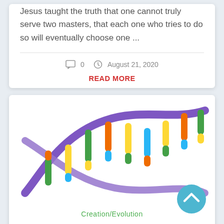Jesus taught the truth that one cannot truly serve two masters, that each one who tries to do so will eventually choose one ...
0   August 21, 2020
READ MORE
[Figure (illustration): Colorful DNA double helix illustration with purple backbone and multicolored base pairs (green, yellow, orange, blue)]
Creation/Evolution
DNA – Designed, Not Accidental